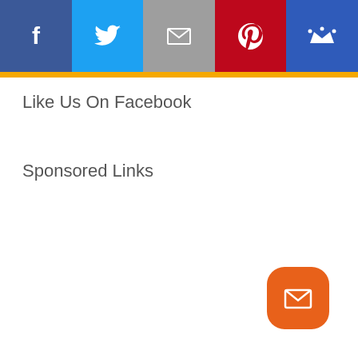[Figure (infographic): Social sharing bar with five icons: Facebook (blue), Twitter (light blue), Email (gray), Pinterest (red), Crown/subscription (dark blue), followed by a gold horizontal bar]
Like Us On Facebook
Sponsored Links
[Figure (infographic): Orange rounded square button with white envelope/mail icon in bottom right corner]